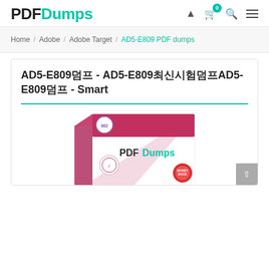[Figure (logo): PDFDumps logo with PDF in black bold and Dumps in teal/green bold text]
Home / Adobe / Adobe Target / AD5-E809 PDF dumps
AD5-E809덤프 - AD5-E809최신시험덤프AD5-E809덤프 - Smart
[Figure (photo): PDFDumps product box image showing PDF dumps study material box with PDFDumps logo and a money-back guarantee seal]